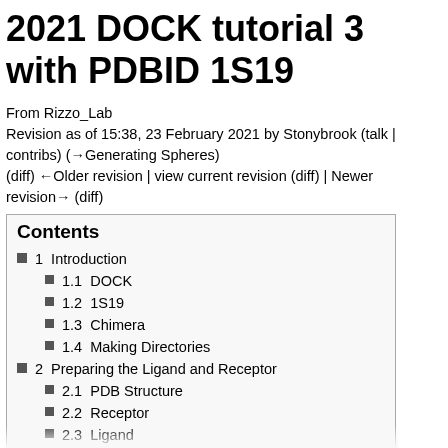2021 DOCK tutorial 3 with PDBID 1S19
From Rizzo_Lab
Revision as of 15:38, 23 February 2021 by Stonybrook (talk | contribs) (→Generating Spheres)
(diff) ←Older revision | view current revision (diff) | Newer revision→ (diff)
Contents
1  Introduction
1.1  DOCK
1.2  1S19
1.3  Chimera
1.4  Making Directories
2  Preparing the Ligand and Receptor
2.1  PDB Structure
2.2  Receptor
2.3  Ligand
3  Generating Receptor Surface and Sph...